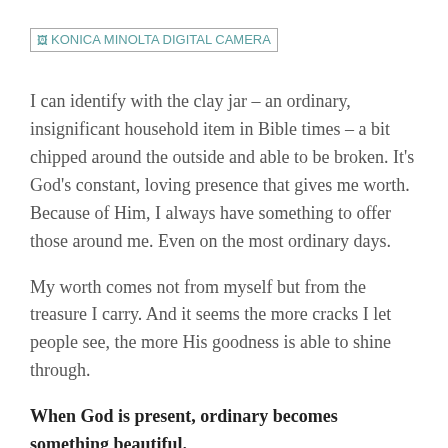[Figure (photo): Broken image placeholder with alt text: KONICA MINOLTA DIGITAL CAMERA]
I can identify with the clay jar – an ordinary, insignificant household item in Bible times – a bit chipped around the outside and able to be broken. It's God's constant, loving presence that gives me worth. Because of Him, I always have something to offer those around me. Even on the most ordinary days.
My worth comes not from myself but from the treasure I carry. And it seems the more cracks I let people see, the more His goodness is able to shine through.
When God is present, ordinary becomes something beautiful.